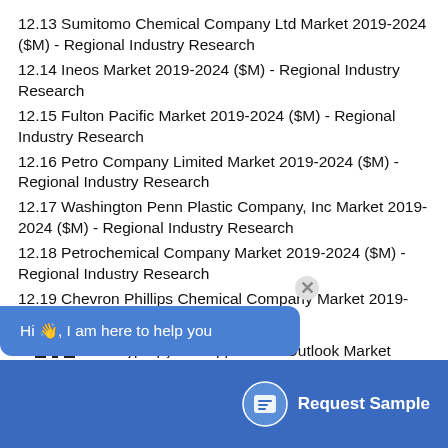12.13 Sumitomo Chemical Company Ltd Market 2019-2024 ($M) - Regional Industry Research
12.14 Ineos Market 2019-2024 ($M) - Regional Industry Research
12.15 Fulton Pacific Market 2019-2024 ($M) - Regional Industry Research
12.16 Petro Company Limited Market 2019-2024 ($M) - Regional Industry Research
12.17 Washington Penn Plastic Company, Inc Market 2019-2024 ($M) - Regional Industry Research
12.18 Petrochemical Company Market 2019-2024 ($M) - Regional Industry Research
12.19 Chevron Phillips Chemical Company Market 2019-2024 ($M) - Regional Industry Research
1. NA Polypropylene Application Outlook Market